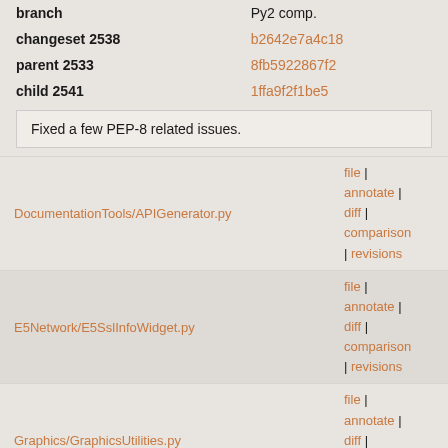| field | value |
| --- | --- |
| branch | Py2 comp. |
| changeset 2538 | b2642e7a4c18 |
| parent 2533 | 8fb5922867f2 |
| child 2541 | 1ffa9f2f1be5 |
Fixed a few PEP-8 related issues.
DocumentationTools/APIGenerator.py — file | annotate | diff | comparison | revisions
E5Network/E5SslInfoWidget.py — file | annotate | diff | comparison | revisions
Graphics/GraphicsUtilities.py — file | annotate | diff | comparison | revisions
file | annotate |